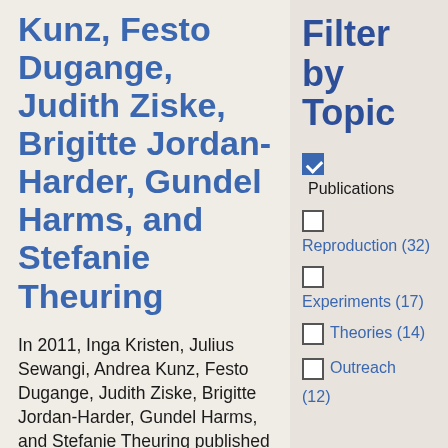Kunz, Festo Dugange, Judith Ziske, Brigitte Jordan-Harder, Gundel Harms, and Stefanie Theuring
In 2011, Inga Kristen, Julius Sewangi, Andrea Kunz, Festo Dugange, Judith Ziske, Brigitte Jordan-Harder, Gundel Harms, and Stefanie Theuring published the article, “Adherence to Combination Prophylaxis for Prevention of Mother-
Filter by Topic
Publications (checked)
Reproduction (32)
Experiments (17)
Theories (14)
Outreach (12)